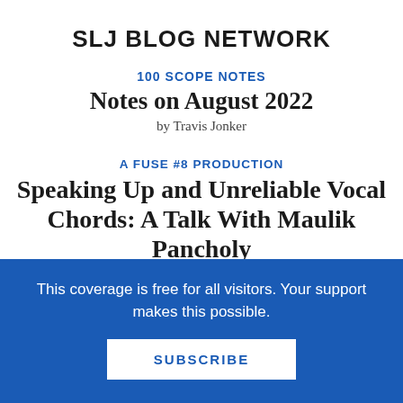SLJ BLOG NETWORK
100 SCOPE NOTES
Notes on August 2022
by Travis Jonker
A FUSE #8 PRODUCTION
Speaking Up and Unreliable Vocal Chords: A Talk With Maulik Pancholy About NIKHIL OUT LOUD
This coverage is free for all visitors. Your support makes this possible.
SUBSCRIBE